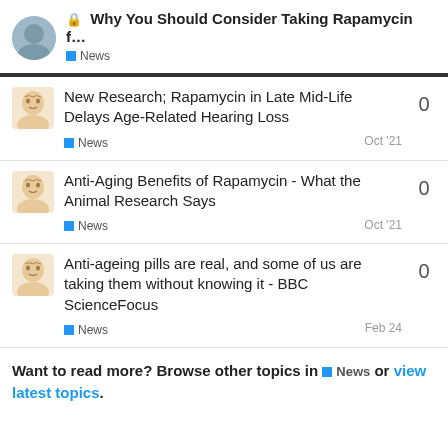Why You Should Consider Taking Rapamycin f... News
New Research; Rapamycin in Late Mid-Life Delays Age-Related Hearing Loss — News — Oct '21 — 0 replies
Anti-Aging Benefits of Rapamycin - What the Animal Research Says — News — Oct '21 — 0 replies
Anti-ageing pills are real, and some of us are taking them without knowing it - BBC ScienceFocus — News — Feb 24 — 0 replies
Want to read more? Browse other topics in News or view latest topics.